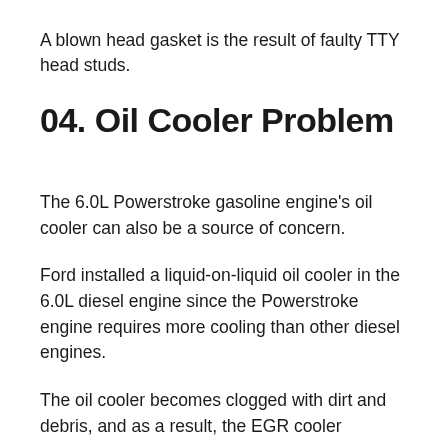A blown head gasket is the result of faulty TTY head studs.
04. Oil Cooler Problem
The 6.0L Powerstroke gasoline engine's oil cooler can also be a source of concern.
Ford installed a liquid-on-liquid oil cooler in the 6.0L diesel engine since the Powerstroke engine requires more cooling than other diesel engines.
The oil cooler becomes clogged with dirt and debris, and as a result, the EGR cooler